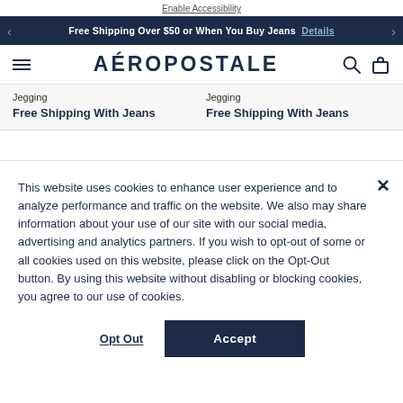Enable Accessibility
Free Shipping Over $50 or When You Buy Jeans  Details
AÉROPOSTALE
Jegging  Free Shipping With Jeans
Jegging  Free Shipping With Jeans
This website uses cookies to enhance user experience and to analyze performance and traffic on the website. We also may share information about your use of our site with our social media, advertising and analytics partners. If you wish to opt-out of some or all cookies used on this website, please click on the Opt-Out button. By using this website without disabling or blocking cookies, you agree to our use of cookies.
Opt Out
Accept